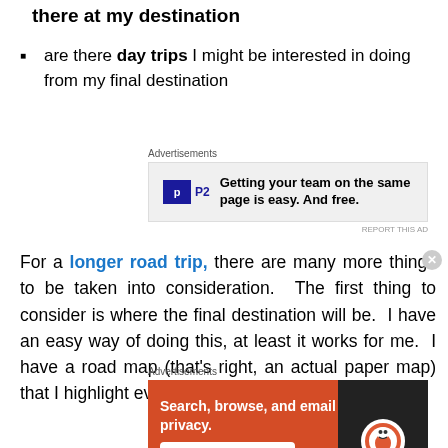there at my destination
are there day trips I might be interested in doing from my final destination
[Figure (other): Advertisement banner for P2 with text: Getting your team on the same page is easy. And free.]
For a longer road trip, there are many more things to be taken into consideration. The first thing to consider is where the final destination will be. I have an easy way of doing this, at least it works for me. I have a road map (that's right, an actual paper map) that I highlight ever
[Figure (other): Advertisement banner for DuckDuckGo with text: Search, browse, and email with more privacy. All in One Free App]